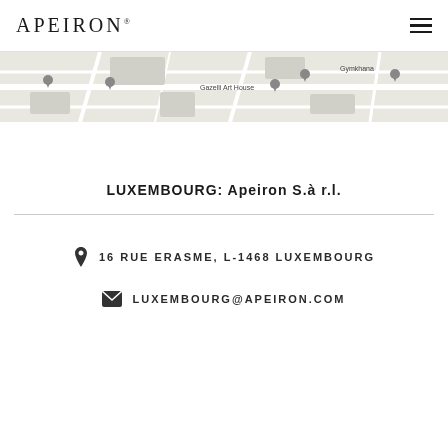APEIRON®
[Figure (map): Grayscale Google Maps strip showing street map with location pins, labels including 'Gazelli Art House' and 'Gymkhana']
LUXEMBOURG: Apeiron S.à r.l.
16 RUE ERASME, L-1468 LUXEMBOURG
LUXEMBOURG@APEIRON.COM